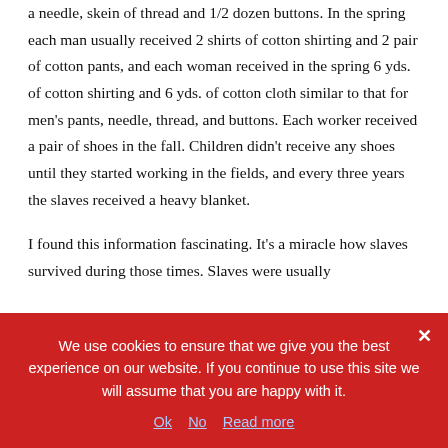a needle, skein of thread and 1/2 dozen buttons. In the spring each man usually received 2 shirts of cotton shirting and 2 pair of cotton pants, and each woman received in the spring 6 yds. of cotton shirting and 6 yds. of cotton cloth similar to that for men's pants, needle, thread, and buttons. Each worker received a pair of shoes in the fall. Children didn't receive any shoes until they started working in the fields, and every three years the slaves received a heavy blanket.
I found this information fascinating. It's a miracle how slaves survived during those times. Slaves were usually
We use cookies to ensure that we give you the best experience on our website. If you continue to use this site we will assume that you are happy with it.
Ok   No   Read more